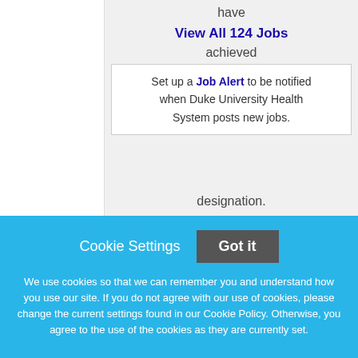have
View All 124 Jobs
achieved
Magnet designation. The health system designation demonstrates our
Set up a Job Alert to be notified when Duke University Health System posts new jobs.
Cookie Settings
Got it
We use cookies so that we can remember you and understand how you use our site. If you do not agree with our use of cookies, please change the current settings found in our Cookie Policy. Otherwise, you agree to the use of the cookies as they are currently set.